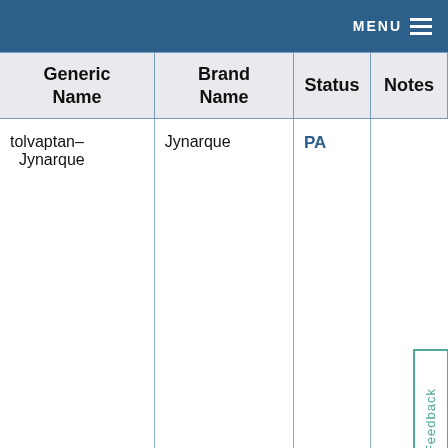MENU
| Generic Name | Brand Name | Status | Notes |
| --- | --- | --- | --- |
| tolvaptan–Jynarque | Jynarque | PA |  |